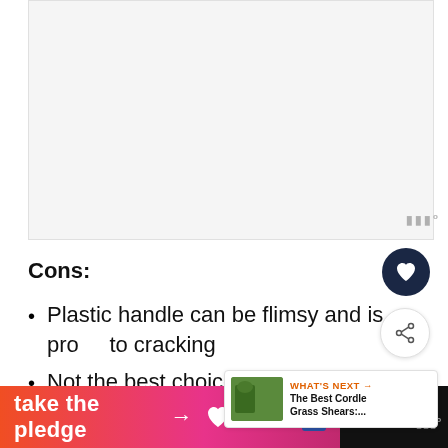[Figure (photo): Product photo area, light gray background, partially visible]
Cons:
Plastic handle can be flimsy and is prone to cracking
Not the best choice for first time edging
[Figure (infographic): Take the pledge advertisement banner with orange-pink gradient, arrow, heart icon, RELEASE and Ed logos]
take the pledge → RELEASE Ed